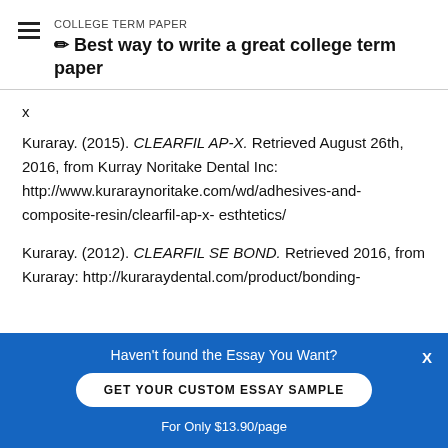COLLEGE TERM PAPER
✏ Best way to write a great college term paper
x
Kuraray. (2015). CLEARFIL AP-X. Retrieved August 26th, 2016, from Kurray Noritake Dental Inc: http://www.kuraraynoritake.com/wd/adhesives-and-composite-resin/clearfil-ap-x- esthtetics/
Kuraray. (2012). CLEARFIL SE BOND. Retrieved 2016, from Kuraray: http://kuraraydental.com/product/bonding-
Haven't found the Essay You Want?
GET YOUR CUSTOM ESSAY SAMPLE
For Only $13.90/page